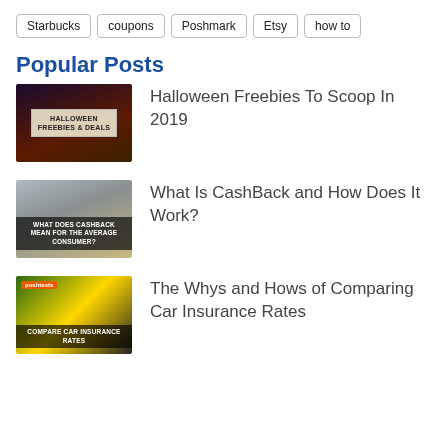Starbucks
coupons
Poshmark
Etsy
how to
Popular Posts
[Figure (photo): Thumbnail image for Halloween Freebies & Deals article showing dark background with a label reading HALLOWEEN FREEBIES & DEALS]
Halloween Freebies To Scoop In 2019
[Figure (photo): Thumbnail image for CashBack article showing coins being poured from a hand with overlay text WHAT DOES CASHBACK MEAN FOR THE AVERAGE CONSUMER?]
What Is CashBack and How Does It Work?
[Figure (photo): Thumbnail image for comparing car insurance rates showing colorful cars with overlay text COMPARE CAR INSURANCE RATES and site label]
The Whys and Hows of Comparing Car Insurance Rates